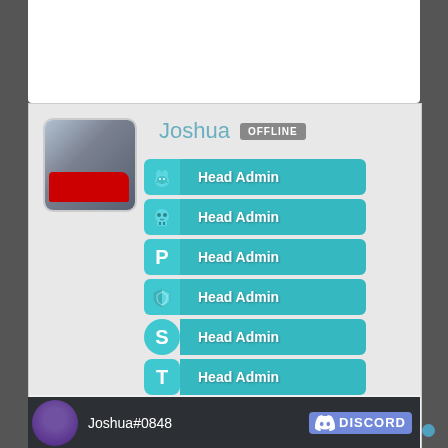[Figure (screenshot): User profile card for 'Joshua' showing OFFLINE status, avatar photo, six 'Head Admin' badges with teal icons (rabbit, skull, P, shield, S, T), a ZARP VIP badge, colored dot indicators, Posts: 1568, and a Discord banner showing Joshua#0848]
Joshua  OFFLINE
Head Admin
Head Admin
Head Admin
Head Admin
Head Admin
Head Admin
ZARP VIP
Posts: 1568
Joshua#0848  DISCORD